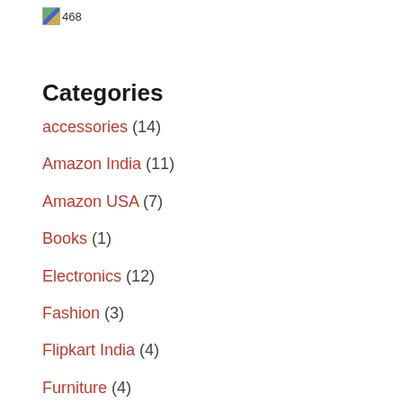[Figure (other): Broken image placeholder showing '468']
Categories
accessories (14)
Amazon India (11)
Amazon USA (7)
Books (1)
Electronics (12)
Fashion (3)
Flipkart India (4)
Furniture (4)
Health & Fitness (23)
Home (16)
Home Appliances (19)